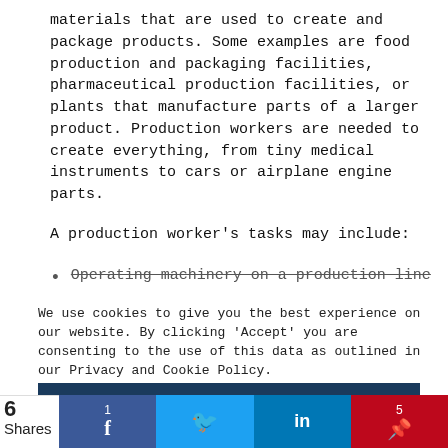materials that are used to create and package products. Some examples are food production and packaging facilities, pharmaceutical production facilities, or plants that manufacture parts of a larger product. Production workers are needed to create everything, from tiny medical instruments to cars or airplane engine parts.
A production worker's tasks may include:
Operating machinery on a production line
We use cookies to give you the best experience on our website. By clicking 'Accept' you are consenting to the use of this data as outlined in our Privacy and Cookie Policy.
[Figure (screenshot): Cookie consent accept button bar (dark blue) with 'Accept' text in white]
[Figure (infographic): Social share bar: 6 shares count, Facebook (1), Twitter (bird icon), LinkedIn (in), Pinterest (5)]